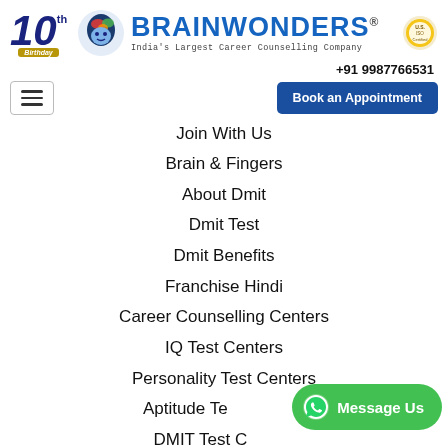[Figure (logo): Brainwonders logo with 10th birthday badge, brain icon, brand name and tagline, and certification badge]
+91 9987766531
Book an Appointment
Join With Us
Brain & Fingers
About Dmit
Dmit Test
Dmit Benefits
Franchise Hindi
Career Counselling Centers
IQ Test Centers
Personality Test Centers
Aptitude Te…
DMIT Test C…
Internal Links
[Figure (other): WhatsApp Message Us floating button in green]